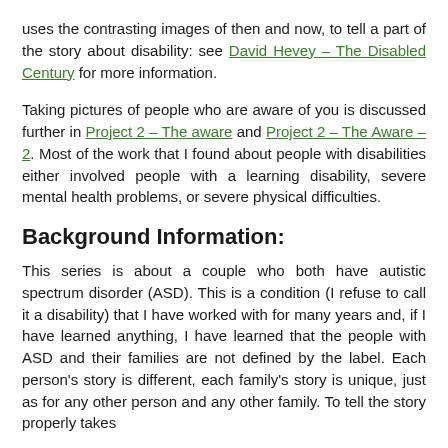uses the contrasting images of then and now, to tell a part of the story about disability: see David Hevey – The Disabled Century for more information.
Taking pictures of people who are aware of you is discussed further in Project 2 – The aware and Project 2 – The Aware – 2. Most of the work that I found about people with disabilities either involved people with a learning disability, severe mental health problems, or severe physical difficulties.
Background Information:
This series is about a couple who both have autistic spectrum disorder (ASD). This is a condition (I refuse to call it a disability) that I have worked with for many years and, if I have learned anything, I have learned that the people with ASD and their families are not defined by the label. Each person's story is different, each family's story is unique, just as for any other person and any other family. To tell the story properly takes